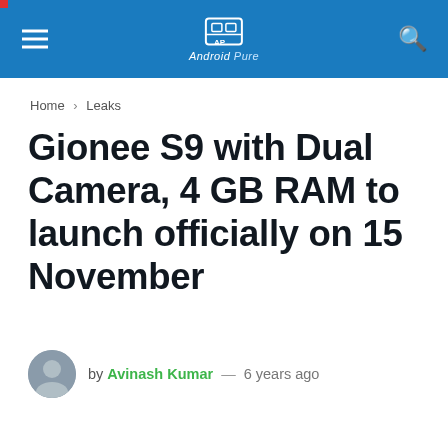Android Pure
Home > Leaks
Gionee S9 with Dual Camera, 4 GB RAM to launch officially on 15 November
by Avinash Kumar — 6 years ago